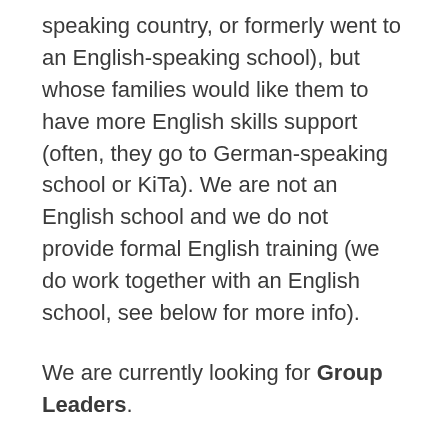speaking country, or formerly went to an English-speaking school), but whose families would like them to have more English skills support (often, they go to German-speaking school or KiTa). We are not an English school and we do not provide formal English training (we do work together with an English school, see below for more info).
We are currently looking for Group Leaders.
A group leader is in charge of leading an activity meet-up. Our main meetups are on Saturday afternoons near the Pankow train